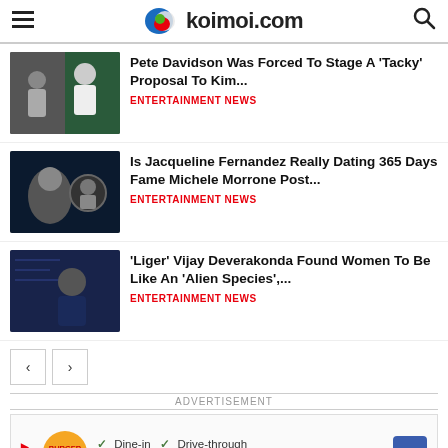koimoi.com
Pete Davidson Was Forced To Stage A 'Tacky' Proposal To Kim...
ENTERTAINMENT NEWS
Is Jacqueline Fernandez Really Dating 365 Days Fame Michele Morrone Post...
ENTERTAINMENT NEWS
'Liger' Vijay Deverakonda Found Women To Be Like An 'Alien Species',...
ENTERTAINMENT NEWS
ADVERTISEMENT
[Figure (other): Burger King advertisement showing Dine-in, Drive-through, and Delivery options with checkmarks and a navigation arrow icon]